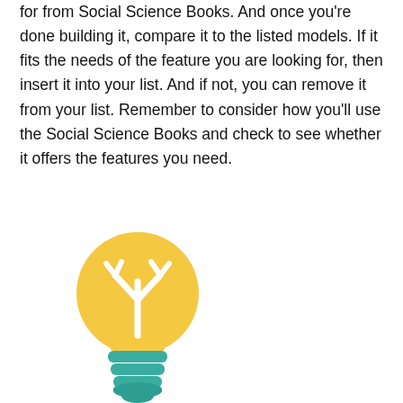for from Social Science Books. And once you're done building it, compare it to the listed models. If it fits the needs of the feature you are looking for, then insert it into your list. And if not, you can remove it from your list. Remember to consider how you'll use the Social Science Books and check to see whether it offers the features you need.
[Figure (illustration): A flat-style illustration of a light bulb with a yellow/golden body and a teal/green base with coil rings. Inside the bulb is a white stylized plant/leaf filament shape suggesting ideas or growth.]